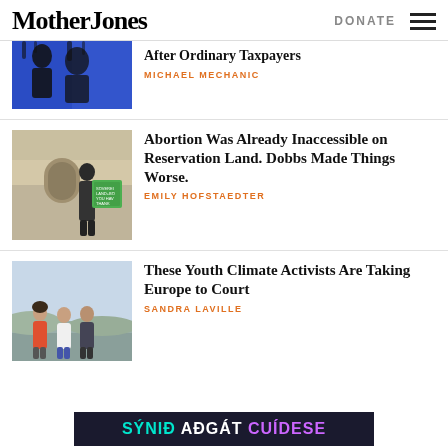Mother Jones | DONATE
After Ordinary Taxpayers
MICHAEL MECHANIC
Abortion Was Already Inaccessible on Reservation Land. Dobbs Made Things Worse.
EMILY HOFSTAEDTER
These Youth Climate Activists Are Taking Europe to Court
SANDRA LAVILLE
SÝNIÐ AÐGÁT CUÍDESE